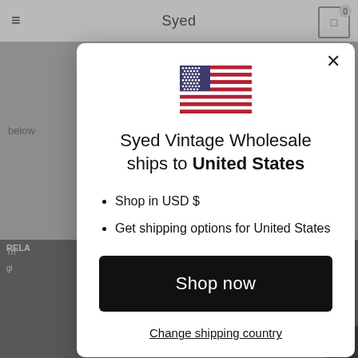[Figure (screenshot): Website background showing 'Syed' store header with hamburger menu, cart icon, and darkened page content behind a modal overlay]
[Figure (illustration): United States flag icon displayed at top center of modal]
Syed Vintage Wholesale ships to United States
Shop in USD $
Get shipping options for United States
Shop now
Change shipping country